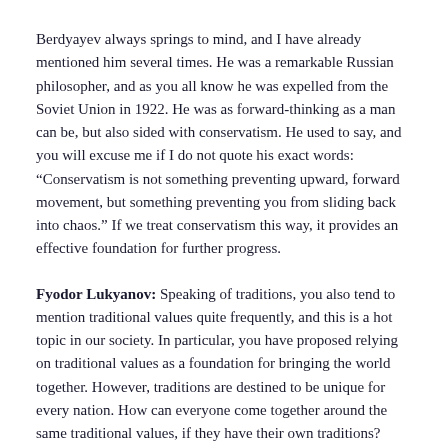Berdyayev always springs to mind, and I have already mentioned him several times. He was a remarkable Russian philosopher, and as you all know he was expelled from the Soviet Union in 1922. He was as forward-thinking as a man can be, but also sided with conservatism. He used to say, and you will excuse me if I do not quote his exact words: “Conservatism is not something preventing upward, forward movement, but something preventing you from sliding back into chaos.” If we treat conservatism this way, it provides an effective foundation for further progress.
Fyodor Lukyanov: Speaking of traditions, you also tend to mention traditional values quite frequently, and this is a hot topic in our society. In particular, you have proposed relying on traditional values as a foundation for bringing the world together. However, traditions are destined to be unique for every nation. How can everyone come together around the same traditional values, if they have their own traditions?